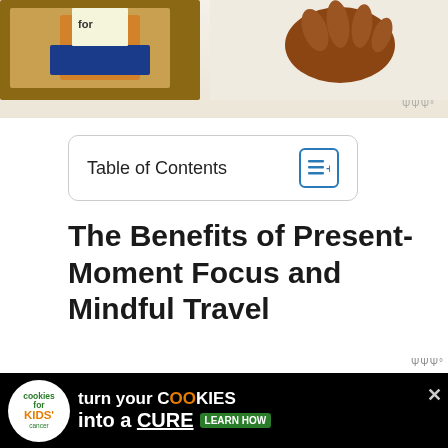[Figure (photo): Partial view of two images at the top of the page: left side shows a child holding a sign with 'for' visible, wearing blue; right side shows a brown hand/arm. Cropped at top of page.]
Table of Contents
The Benefits of Present-Moment Focus and Mindful Travel
The present moment is a magical fragment of time that constitutes the here and now. To remain situated in it will help you make the most of your time
[Figure (screenshot): Advertisement banner for 'Cookies for Kids Cancer': turn your COOKIES into a CURE LEARN HOW, on black background with circular logo]